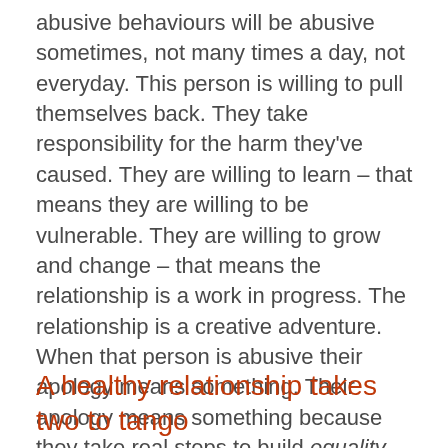abusive behaviours will be abusive sometimes, not many times a day, not everyday. This person is willing to pull themselves back. They take responsibility for the harm they've caused. They are willing to learn – that means they are willing to be vulnerable. They are willing to grow and change – that means the relationship is a work in progress. The relationship is a creative adventure. When that person is abusive their apology means something. Their apology means something because they take real steps to build equality. Their apology means something because their behaviours change. Let's pluck a figure out of the air – 95% of the time they are respectful.  They are willing to empathise with the pain they have caused. They compromise. There might be moments – 5% of the time – when they want things their way. Don't we all?
A healthy relationship takes two to tango